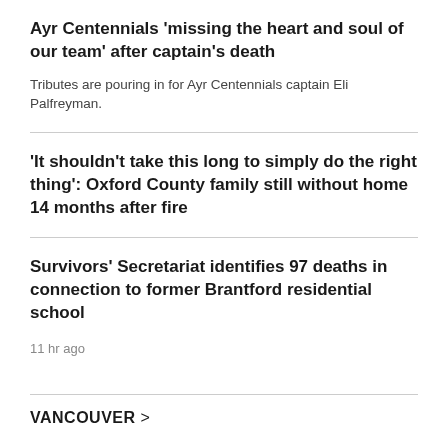Ayr Centennials 'missing the heart and soul of our team' after captain’s death
Tributes are pouring in for Ayr Centennials captain Eli Palfreyman.
'It shouldn't take this long to simply do the right thing': Oxford County family still without home 14 months after fire
Survivors’ Secretariat identifies 97 deaths in connection to former Brantford residential school
11 hr ago
VANCOUVER >